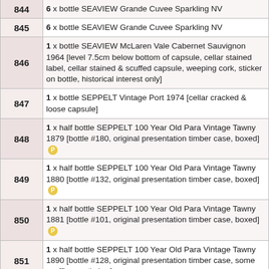| Lot | Description |
| --- | --- |
| 844 | 6 x bottle SEAVIEW Grande Cuvee Sparkling NV |
| 845 | 6 x bottle SEAVIEW Grande Cuvee Sparkling NV |
| 846 | 1 x bottle SEAVIEW McLaren Vale Cabernet Sauvignon 1964 [level 7.5cm below bottom of capsule, cellar stained label, cellar stained & scuffed capsule, weeping cork, sticker on bottle, historical interest only] |
| 847 | 1 x bottle SEPPELT Vintage Port 1974 [cellar cracked & loose capsule] |
| 848 | 1 x half bottle SEPPELT 100 Year Old Para Vintage Tawny 1879 [bottle #180, original presentation timber case, boxed] P |
| 849 | 1 x half bottle SEPPELT 100 Year Old Para Vintage Tawny 1880 [bottle #132, original presentation timber case, boxed] P |
| 850 | 1 x half bottle SEPPELT 100 Year Old Para Vintage Tawny 1881 [bottle #101, original presentation timber case, boxed] P |
| 851 | 1 x half bottle SEPPELT 100 Year Old Para Vintage Tawny 1890 [bottle #128, original presentation timber case, some scuffing on timber] |